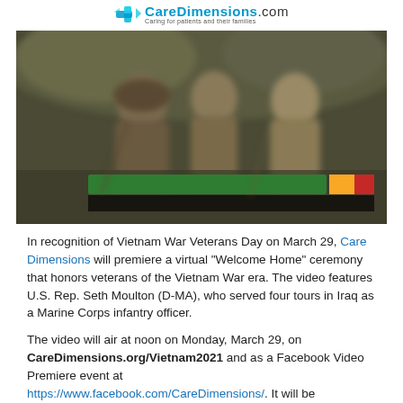CareDimensions.com
[Figure (photo): A blurred photograph of three Vietnam War memorial bronze statues of soldiers, with a green banner overlay near the bottom showing text about Vietnam War Veterans Day, flanked by small yellow and red color blocks.]
In recognition of Vietnam War Veterans Day on March 29, Care Dimensions will premiere a virtual “Welcome Home” ceremony that honors veterans of the Vietnam War era. The video features U.S. Rep. Seth Moulton (D-MA), who served four tours in Iraq as a Marine Corps infantry officer.
The video will air at noon on Monday, March 29, on CareDimensions.org/Vietnam2021 and as a Facebook Video Premiere event at https://www.facebook.com/CareDimensions/. It will be